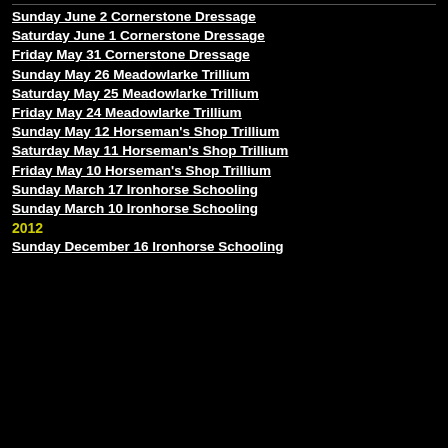Sunday June 2 Cornerstone Dressage
Saturday June 1 Cornerstone Dressage
Friday May 31 Cornerstone Dressage
Sunday May 26 Meadowlarke Trillium
Saturday May 25 Meadowlarke Trillium
Friday May 24 Meadowlarke Trillium
Sunday May 12 Horseman's Shop Trillium
Saturday May 11 Horseman's Shop Trillium
Friday May 10 Horseman's Shop Trillium
Sunday March 17 Ironhorse Schooling
Sunday March 10 Ironhorse Schooling
2012
Sunday December 16 Ironhorse Schooling